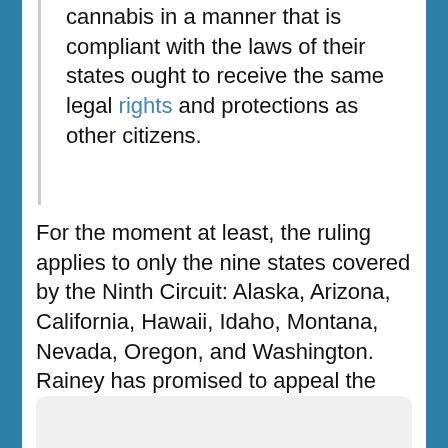cannabis in a manner that is compliant with the laws of their states ought to receive the same legal rights and protections as other citizens.
For the moment at least, the ruling applies to only the nine states covered by the Ninth Circuit: Alaska, Arizona, California, Hawaii, Idaho, Montana, Nevada, Oregon, and Washington. Rainey has promised to appeal the ruling either to the full circuit court or to the Supreme Court. If the appeal goes that far, Wilson's lawsuit might give the newest member (replacing deceased Justice Scalia) of the high court a chance to rule on the matter next year.